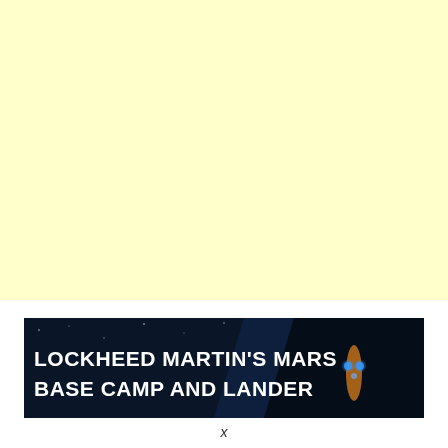[Figure (illustration): Light yellow background block filling the top portion of the page]
[Figure (photo): Dark space-themed banner image showing Lockheed Martin's Mars Base Camp and Lander concept with text overlay reading 'LOCKHEED MARTIN'S MARS BASE CAMP AND LANDER' in bold white uppercase letters on a dark navy/black background with a spacecraft visible on the right side]
x